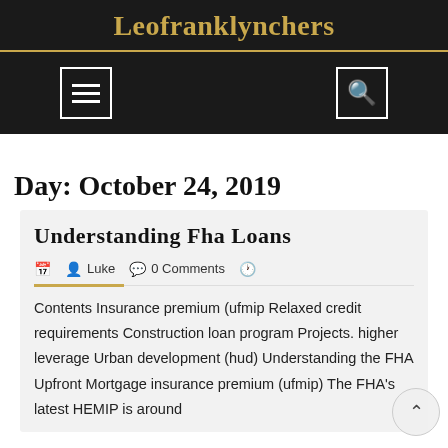Leofranklynchers
Day: October 24, 2019
Understanding Fha Loans
Luke   0 Comments
Contents Insurance premium (ufmip Relaxed credit requirements Construction loan program Projects. higher leverage Urban development (hud) Understanding the FHA Upfront Mortgage insurance premium (ufmip) The FHA's latest UEMIP is around